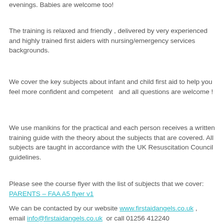evenings. Babies are welcome too!
The training is relaxed and friendly , delivered by very experienced and highly trained first aiders with nursing/emergency services backgrounds.
We cover the key subjects about infant and child first aid to help you feel more confident and competent  and all questions are welcome !
We use manikins for the practical and each person receives a written training guide with the theory about the subjects that are covered. All subjects are taught in accordance with the UK Resuscitation Council guidelines.
Please see the course flyer with the list of subjects that we cover: PARENTS – FAA A5 flyer v1
We can be contacted by our website www.firstaidangels.co.uk , email info@firstaidangels.co.uk  or call 01256 412240